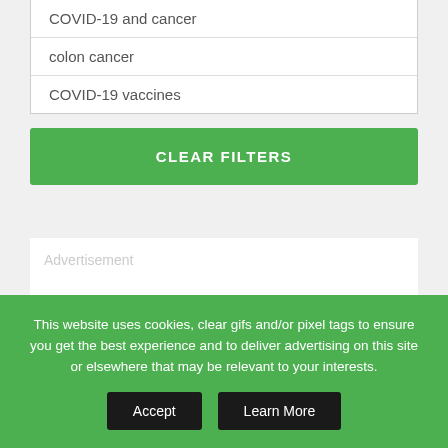COVID-19 and cancer
colon cancer
COVID-19 vaccines
CLEAR FILTERS
Advertisement
This website uses cookies, clear gifs and/or pixel tags to ensure you get the best experience and to deliver advertising on this site or elsewhere that may be relevant to your interests.
Accept
Learn More